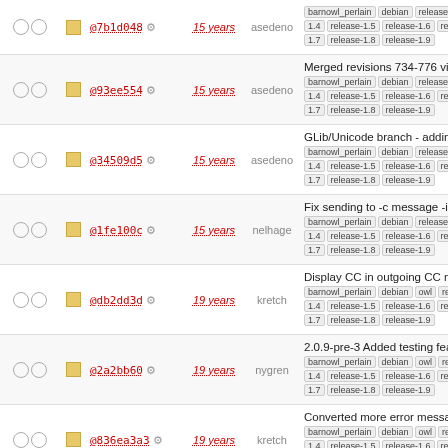|  |  | hash | age | author | description |
| --- | --- | --- | --- | --- | --- |
| ○○ | ▪ | @7b1d048 | 15 years | asedeno | barnowl_perlain debian release- 1.4 release-1.5 release-1.6 rele... 1.7 release-1.8 release-1.9 |
| ○○ | ▪ | @93ee554 | 15 years | asedeno | Merged revisions 734-776 via svnmerge from ... barnowl_perlain debian release- 1.4 release-1.5 release-1.6 rele... 1.7 release-1.8 release-1.9 |
| ○○ | ▪ | @34509d5 | 15 years | asedeno | GLib/Unicode branch - adding dependency. Linking BarnOwl t... barnowl_perlain debian release- 1.4 release-1.5 release-1.6 rele... 1.7 release-1.8 release-1.9 |
| ○○ | ▪ | @1fe100c | 15 years | nelhage | Fix sending to -c message -i pe... barnowl_perlain debian release- 1.4 release-1.5 release-1.6 rele... 1.7 release-1.8 release-1.9 |
| ○○ | ▪ | @db2dd3d | 19 years | kretch | Display CC in outgoing CC me... barnowl_perlain debian owl rel... 1.4 release-1.5 release-1.6 rele... 1.7 release-1.8 release-1.9 |
| ○○ | ▪ | @2a2bb60 | 19 years | nygren | 2.0.9-pre-3 Added testing featu... capturing stderr messages ... barnowl_perlain debian owl rel... 1.4 release-1.5 release-1.6 rele... 1.7 release-1.8 release-1.9 |
| ○○ | ▪ | @836ea3a3 | 19 years | kretch | Converted more error message... use the error queue barnowl_perlain debian owl rel... 1.4 release-1.5 release-1.6 rele... 1.7 release-1.8 release-1.9 |
| ○○ | ▪ |  |  |  | There is now a zcrypt comman... Replies to zcrypted messages... |